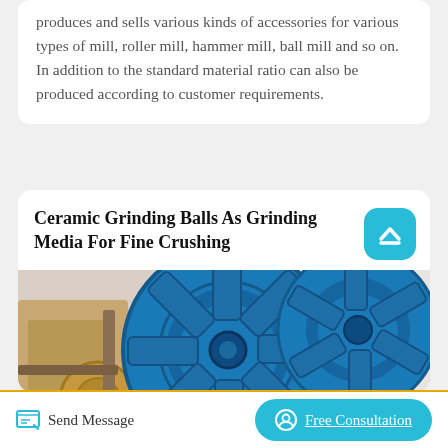produces and sells various kinds of accessories for various types of mill, roller mill, hammer mill, ball mill and so on. In addition to the standard material ratio can also be produced according to customer requirements.
Ceramic Grinding Balls As Grinding Media For Fine Crushing
[Figure (photo): Industrial blue crushing/grinding machinery wheel with material flowing out, in an outdoor industrial setting]
Send Message   Free Consultation